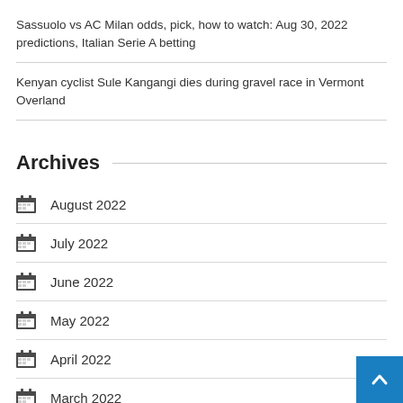Sassuolo vs AC Milan odds, pick, how to watch: Aug 30, 2022 predictions, Italian Serie A betting
Kenyan cyclist Sule Kangangi dies during gravel race in Vermont Overland
Archives
August 2022
July 2022
June 2022
May 2022
April 2022
March 2022
February 2022